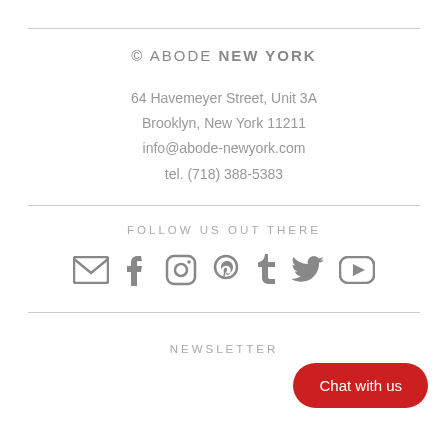© ABODE NEW YORK
64 Havemeyer Street, Unit 3A
Brooklyn, New York 11211
info@abode-newyork.com
tel. (718) 388-5383
FOLLOW US OUT THERE
[Figure (illustration): Row of social media icons: email, Facebook, Instagram, Pinterest, Tumblr, Twitter, YouTube]
Chat with us
NEWSLETTER